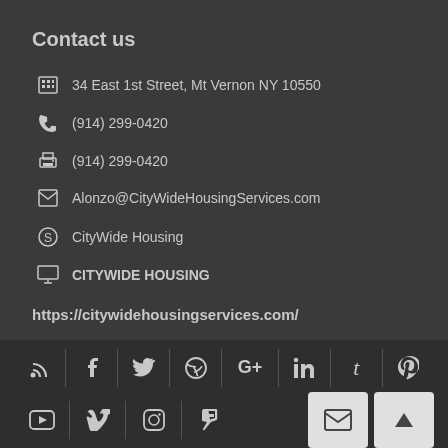Contact us
34 East 1st Street, Mt Vernon NY 10550
(914) 299-0420
(914) 299-0420
Alonzo@CityWideHousingServices.com
CityWide Housing
CITYWIDE HOUSING
https://citywidehousingservices.com/
[Figure (infographic): Social media icon bar row 1: RSS, Facebook, Twitter, Dribbble, Google+, LinkedIn, Tumblr, Pinterest]
[Figure (infographic): Social media icon bar row 2: YouTube, Vimeo, Instagram, Foursquare; plus email button and scroll-to-top button]